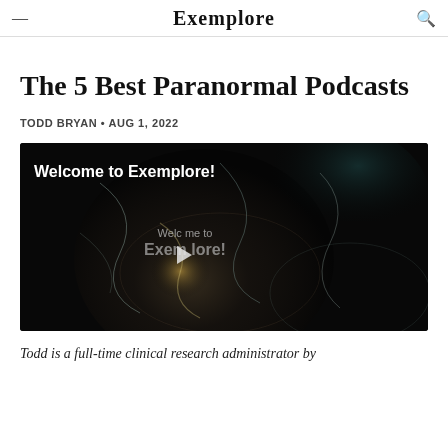Exemplore
The 5 Best Paranormal Podcasts
TODD BRYAN • AUG 1, 2022
[Figure (screenshot): Video thumbnail with dark smoky background and text 'Welcome to Exemplore!' with a play button overlay in the center.]
Todd is a full-time clinical research administrator by